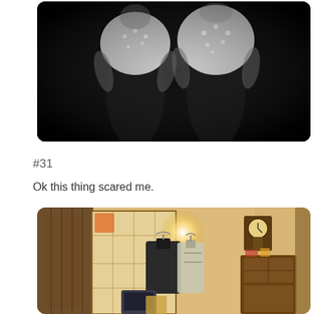[Figure (photo): Dark photograph of two figures wearing white lace garments against a black background, faces obscured]
#31
Ok this thing scared me.
[Figure (photo): Interior room with Japanese-style sliding door panels, clothing hanging on display, antique clock on wall, wooden cabinet with items, warm yellow lighting]